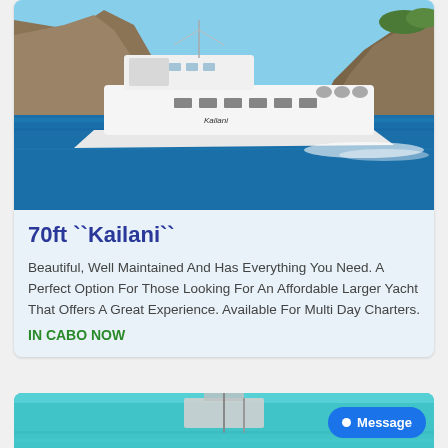[Figure (photo): A large white luxury motor yacht named Kailani cruising on blue water with rocky cliffs in the background under a clear blue sky]
70ft ``Kailani``
Beautiful, Well Maintained And Has Everything You Need. A Perfect Option For Those Looking For An Affordable Larger Yacht That Offers A Great Experience. Available For Multi Day Charters.
IN CABO NOW
[Figure (photo): Partial view of another boat on turquoise water, bottom of page]
Message